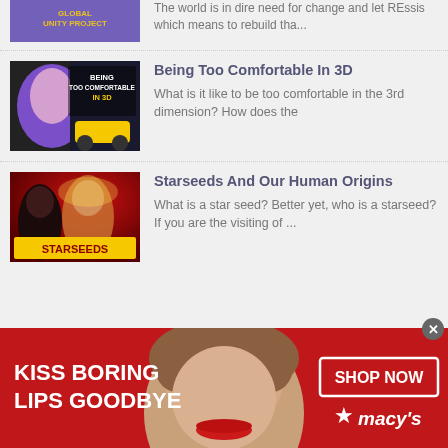[Figure (screenshot): Partial top row showing thumbnail with 'Global Unity Project' text overlay and partial article text 'The world is in dire need for change and let REssis which means to rebuild tha...']
[Figure (screenshot): Thumbnail for 'Being Too Comfortable In 3D' showing a man with long hair, text overlay 'BEING TOO COMFORTABLE IN 3D' with yellow car and money]
Being Too Comfortable In 3D
What is it like to be too comfortable in the 3rd dimension? How does the
[Figure (screenshot): Thumbnail for 'Starseeds And Our Human Origins' showing women on red background with 'STARSEEDS' text]
Starseeds And Our Human Origins
What is a star seed?  Better yet, who is a starseed? If you are the visiting of ...
[Figure (photo): Advertisement banner - red background with woman's face showing red lips, text 'KISS BORING LIPS GOODBYE', 'SHOP NOW' button, Macy's star logo]